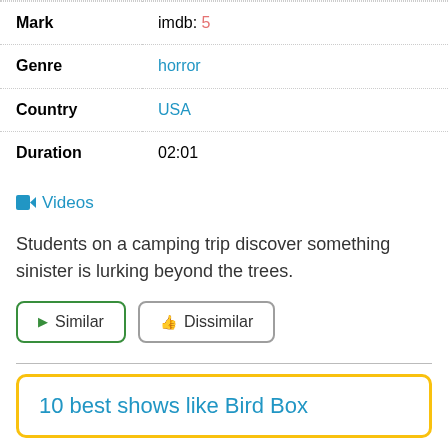| Field | Value |
| --- | --- |
| Mark | imdb: 5 |
| Genre | horror |
| Country | USA |
| Duration | 02:01 |
📹 Videos
Students on a camping trip discover something sinister is lurking beyond the trees.
▶ Similar
👎 Dissimilar
10 best shows like Bird Box
Time Lapse (2014)